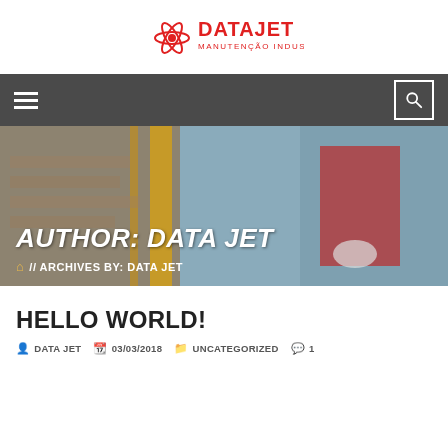[Figure (logo): DataJet Manutenção Industrial logo — red atomic/star symbol with red text DATAJET and smaller text MANUTENÇÃO INDUSTRIAL]
Navigation bar with hamburger menu and search icon
[Figure (photo): Industrial worker in red suit and white gloves on a construction/industrial site with yellow scaffolding and brick wall]
AUTHOR: DATA JET
🏠 // ARCHIVES BY: DATA JET
HELLO WORLD!
DATA JET   03/03/2018   UNCATEGORIZED   1